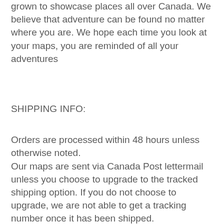grown to showcase places all over Canada. We believe that adventure can be found no matter where you are. We hope each time you look at your maps, you are reminded of all your adventures
SHIPPING INFO:
Orders are processed within 48 hours unless otherwise noted.
Our maps are sent via Canada Post lettermail unless you choose to upgrade to the tracked shipping option. If you do not choose to upgrade, we are not able to get a tracking number once it has been shipped.
CONNECT WITH US: